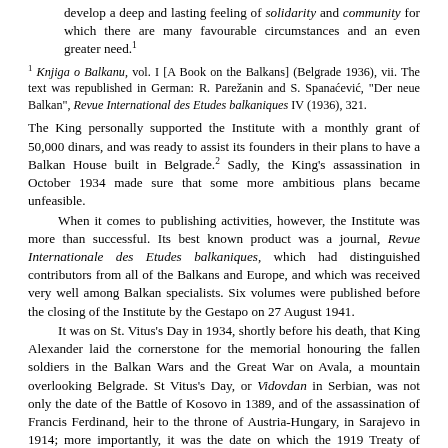develop a deep and lasting feeling of solidarity and community for which there are many favourable circumstances and an even greater need.¹
¹ Knjiga o Balkanu, vol. I [A Book on the Balkans] (Belgrade 1936), vii. The text was republished in German: R. Parežanin and S. Spanaćević, "Der neue Balkan", Revue International des Etudes balkaniques IV (1936), 321.
The King personally supported the Institute with a monthly grant of 50,000 dinars, and was ready to assist its founders in their plans to have a Balkan House built in Belgrade.² Sadly, the King's assassination in October 1934 made sure that some more ambitious plans became unfeasible.
When it comes to publishing activities, however, the Institute was more than successful. Its best known product was a journal, Revue Internationale des Etudes balkaniques, which had distinguished contributors from all of the Balkans and Europe, and which was received very well among Balkan specialists. Six volumes were published before the closing of the Institute by the Gestapo on 27 August 1941.
It was on St. Vitus's Day in 1934, shortly before his death, that King Alexander laid the cornerstone for the memorial honouring the fallen soldiers in the Balkan Wars and the Great War on Avala, a mountain overlooking Belgrade. St Vitus's Day, or Vidovdan in Serbian, was not only the date of the Battle of Kosovo in 1389, and of the assassination of Francis Ferdinand, heir to the throne of Austria-Hungary, in Sarajevo in 1914; more importantly, it was the date on which the 1919 Treaty of Versailles had been signed. Thus the symbolism of this date was twofold: it combined national myth and a universal message of peace.
The Avala monument is exceptional among similar monuments set